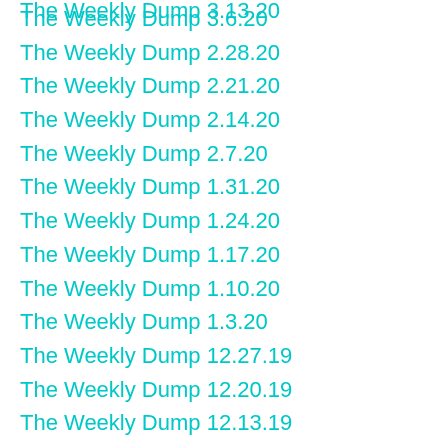The Weekly Dump 3.6.20
The Weekly Dump 2.28.20
The Weekly Dump 2.21.20
The Weekly Dump 2.14.20
The Weekly Dump 2.7.20
The Weekly Dump 1.31.20
The Weekly Dump 1.24.20
The Weekly Dump 1.17.20
The Weekly Dump 1.10.20
The Weekly Dump 1.3.20
The Weekly Dump 12.27.19
The Weekly Dump 12.20.19
The Weekly Dump 12.13.19
The Weekly Dump 12.6.19
The Weekly Dump 11.29.19